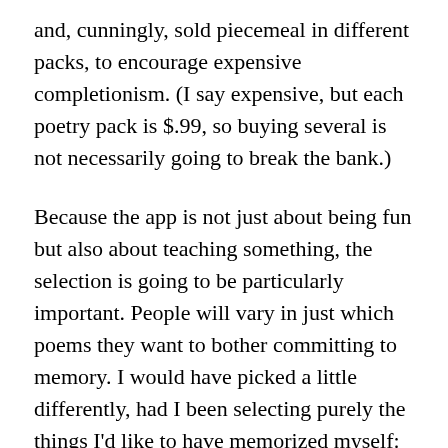and, cunningly, sold piecemeal in different packs, to encourage expensive completionism. (I say expensive, but each poetry pack is $.99, so buying several is not necessarily going to break the bank.)
Because the app is not just about being fun but also about teaching something, the selection is going to be particularly important. People will vary in just which poems they want to bother committing to memory. I would have picked a little differently, had I been selecting purely the things I'd like to have memorized myself: some Pound, some Yeats. Perhaps some other modern favorites, though I realize for recent poets copyright